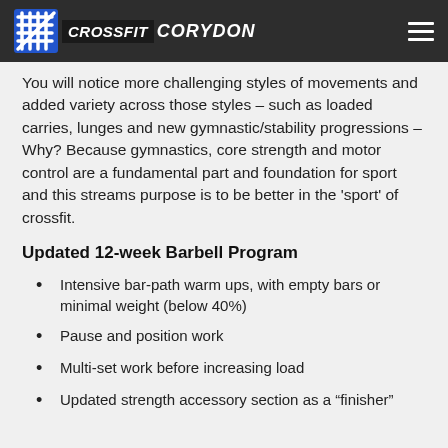CROSSFIT CORYDON
You will notice more challenging styles of movements and added variety across those styles – such as loaded carries, lunges and new gymnastic/stability progressions – Why? Because gymnastics, core strength and motor control are a fundamental part and foundation for sport and this streams purpose is to be better in the 'sport' of crossfit.
Updated 12-week Barbell Program
Intensive bar-path warm ups, with empty bars or minimal weight (below 40%)
Pause and position work
Multi-set work before increasing load
Updated strength accessory section as a "finisher"